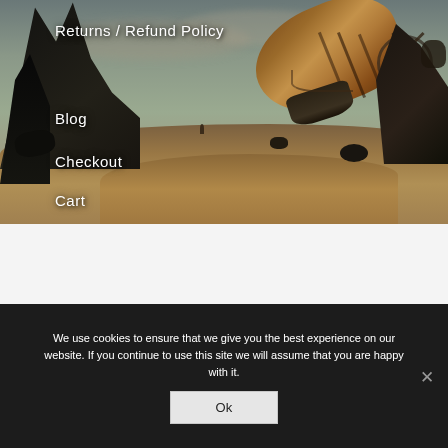[Figure (illustration): Fantasy steampunk landscape painting showing a large airship with brown/copper sails floating in a stormy sky above a desert wasteland with dark rocky formations and debris]
Returns / Refund Policy
Blog
Checkout
Cart
We use cookies to ensure that we give you the best experience on our website. If you continue to use this site we will assume that you are happy with it.
Ok